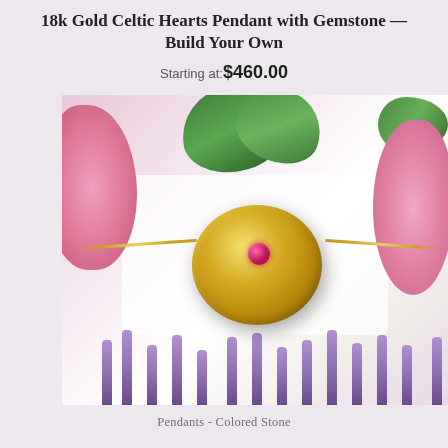18k Gold Celtic Hearts Pendant with Gemstone — Build Your Own
Starting at: $460.00
[Figure (photo): Gold circular pendant necklace with pink/red gemstone center, displayed on a white background surrounded by pink chrysanthemum flowers, green leaves, and purple lavender sprigs.]
Pendants - Colored Stone